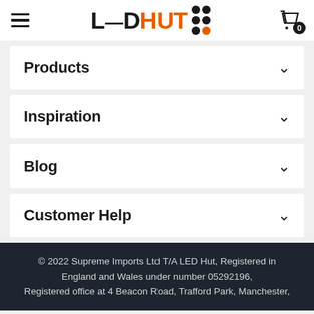[Figure (logo): LED HUT logo with black LED text, orange HUT text, dot grid pattern, hamburger menu icon, and shopping cart icon with 0 badge]
Products
Inspiration
Blog
Customer Help
© 2022 Supreme Imports Ltd T/A LED Hut, Registered in England and Wales under number 05292196, Registered office at 4 Beacon Road, Trafford Park, Manchester,